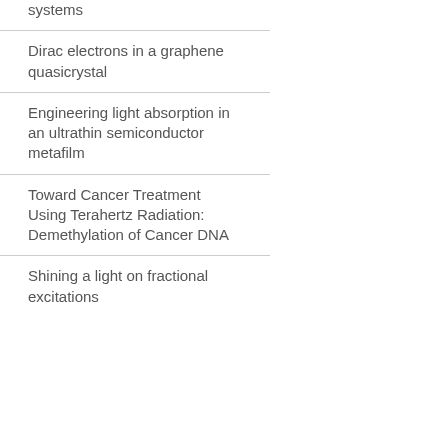systems
Dirac electrons in a graphene quasicrystal
Engineering light absorption in an ultrathin semiconductor metafilm
Toward Cancer Treatment Using Terahertz Radiation: Demethylation of Cancer DNA
Shining a light on fractional excitations